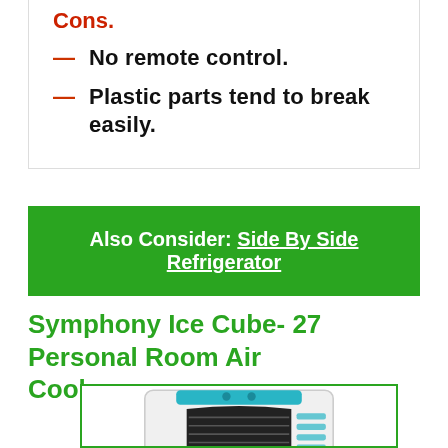Cons.
No remote control.
Plastic parts tend to break easily.
Also Consider: Side By Side Refrigerator
Symphony Ice Cube- 27 Personal Room Air Cooler
[Figure (photo): Photo of Symphony Ice Cube-27 Personal Room Air Cooler, a white boxy air cooler with teal/blue top accents and front grille]